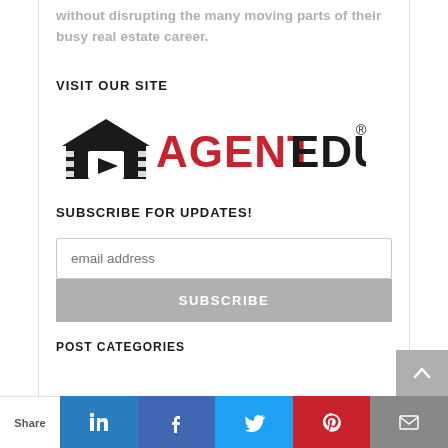without disrupting the many moving parts of their busy real estate career.
VISIT OUR SITE
[Figure (logo): AgentEdu logo with house/film strip icon and red AGENT + black EDU text]
SUBSCRIBE FOR UPDATES!
email address
SUBSCRIBE
POST CATEGORIES
Share | LinkedIn | Facebook | Twitter | Pinterest | Email